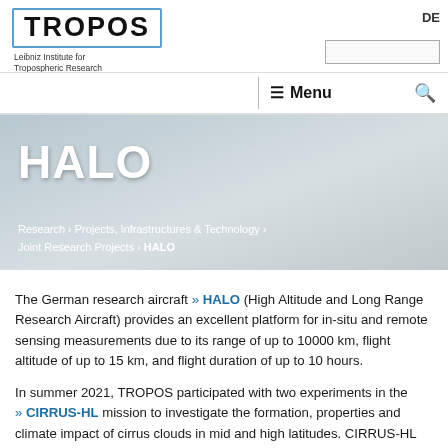[Figure (logo): TROPOS logo with border - Leibniz Institute for Tropospheric Research]
DE Menu [search icon]
HALO
Research › Projects, Infrastructures & Technology › Joint Research Projects › HALO
The German research aircraft » HALO (High Altitude and Long Range Research Aircraft) provides an excellent platform for in-situ and remote sensing measurements due to its range of up to 10000 km, flight altitude of up to 15 km, and flight duration of up to 10 hours.
In summer 2021, TROPOS participated with two experiments in the » CIRRUS-HL mission to investigate the formation, properties and climate impact of cirrus clouds in mid and high latitudes. CIRRUS-HL was the third HALO campaign with contributions by TROPOS, after » ML-CIRRU and » ACRIDICON-CHUVA (both in 2014).